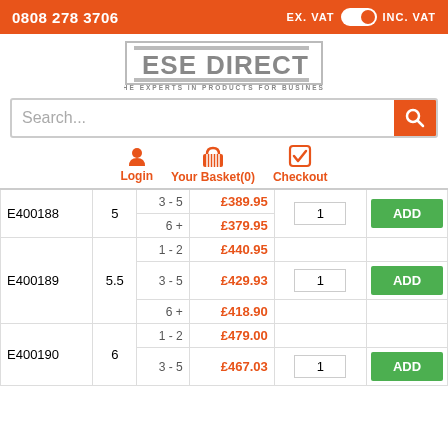0808 278 3706 | EX. VAT | INC. VAT
[Figure (logo): ESE Direct logo with tagline THE EXPERTS IN PRODUCTS FOR BUSINESS]
Search...
Login | Your Basket(0) | Checkout
| SKU | Col2 | Range | Price | Qty | Action |
| --- | --- | --- | --- | --- | --- |
| E400188 | 5 | 3 - 5 | £389.95 | 1 | ADD |
|  |  | 6 + | £379.95 |  |  |
|  |  | 1 - 2 | £440.95 |  |  |
| E400189 | 5.5 | 3 - 5 | £429.93 | 1 | ADD |
|  |  | 6 + | £418.90 |  |  |
|  |  | 1 - 2 | £479.00 |  |  |
| E400190 | 6 | 3 - 5 | £467.03 | 1 | ADD |